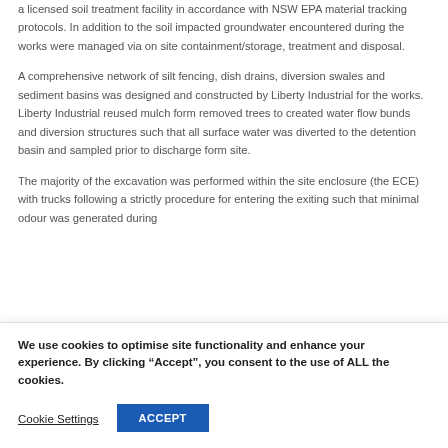a licensed soil treatment facility in accordance with NSW EPA material tracking protocols. In addition to the soil impacted groundwater encountered during the works were managed via on site containment/storage, treatment and disposal.
A comprehensive network of silt fencing, dish drains, diversion swales and sediment basins was designed and constructed by Liberty Industrial for the works. Liberty Industrial reused mulch form removed trees to created water flow bunds and diversion structures such that all surface water was diverted to the detention basin and sampled prior to discharge form site.
The majority of the excavation was performed within the site enclosure (the ECE) with trucks following a strictly procedure for entering the exiting such that minimal odour was generated during
We use cookies to optimise site functionality and enhance your experience. By clicking “Accept”, you consent to the use of ALL the cookies.
Cookie Settings
ACCEPT